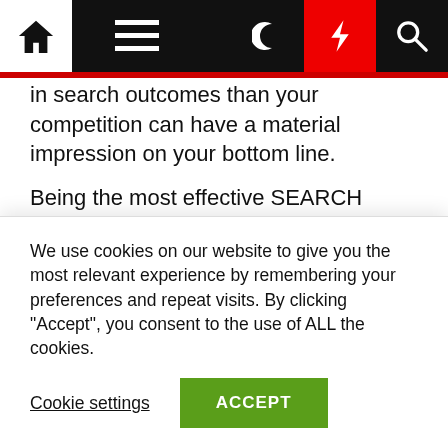Navigation bar with home, menu, dark mode, bolt, and search icons
in search outcomes than your competition can have a material impression on your bottom line.
Being the most effective SEARCH ENGINE MARKETING firm, we know the significance of retaining monitor of the metrics. And with holding observe of metrics additionally comes the obligation to optimize your content when it needs it. A part of our SEO services is to offer continuous on-web page optimization, blogging, link-building, consultation, and strategy. This is to make sure that
We use cookies on our website to give you the most relevant experience by remembering your preferences and repeat visits. By clicking "Accept", you consent to the use of ALL the cookies.
Cookie settings
ACCEPT